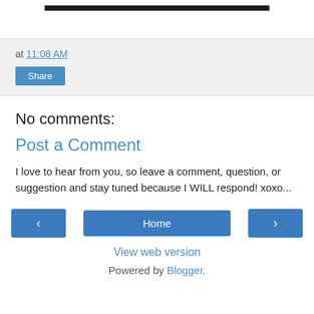[Figure (screenshot): Top dark image bar, partial view of a blog post image]
at 11:08 AM
Share
No comments:
Post a Comment
I love to hear from you, so leave a comment, question, or suggestion and stay tuned because I WILL respond! xoxo...
‹  Home  ›
View web version
Powered by Blogger.